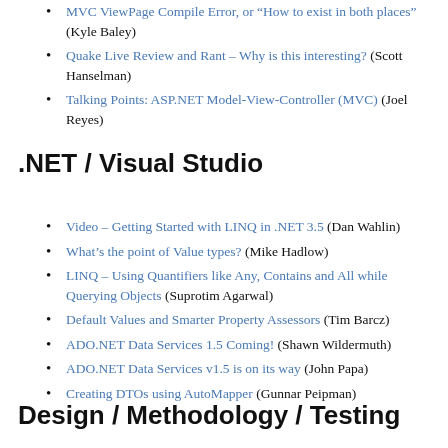MVC ViewPage Compile Error, or “How to exist in both places” (Kyle Baley)
Quake Live Review and Rant – Why is this interesting? (Scott Hanselman)
Talking Points: ASP.NET Model-View-Controller (MVC) (Joel Reyes)
.NET / Visual Studio
Video – Getting Started with LINQ in .NET 3.5 (Dan Wahlin)
What’s the point of Value types? (Mike Hadlow)
LINQ – Using Quantifiers like Any, Contains and All while Querying Objects (Suprotim Agarwal)
Default Values and Smarter Property Assessors (Tim Barcz)
ADO.NET Data Services 1.5 Coming! (Shawn Wildermuth)
ADO.NET Data Services v1.5 is on its way (John Papa)
Creating DTOs using AutoMapper (Gunnar Peipman)
Design / Methodology / Testing